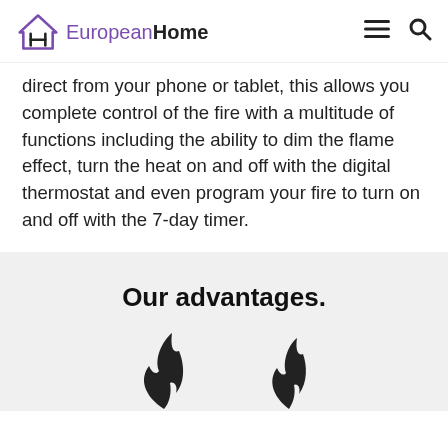European Home
direct from your phone or tablet, this allows you complete control of the fire with a multitude of functions including the ability to dim the flame effect, turn the heat on and off with the digital thermostat and even program your fire to turn on and off with the 7-day timer.
Our advantages.
[Figure (illustration): Two flame icons at the bottom of the grey section]